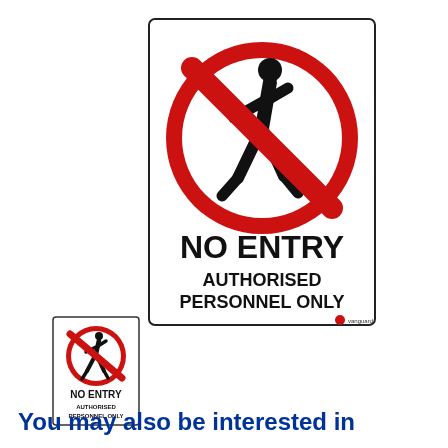[Figure (illustration): Large No Entry sign: white rectangular sign with rounded corners and thin black border. Contains a red prohibition circle with diagonal red bar over a black walking person pictogram. Below the circle, bold black text reads 'NO ENTRY' and smaller bold black text reads 'AUTHORISED PERSONNEL ONLY'. Small vanguard logo at bottom right.]
[Figure (illustration): Small thumbnail version of the same No Entry – Authorised Personnel Only sign, positioned bottom left.]
You may also be interested in